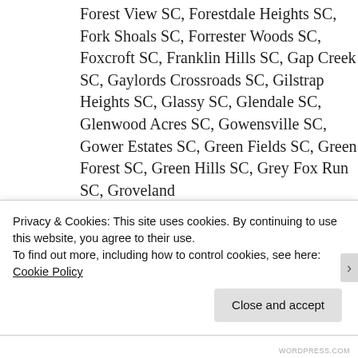Forest View SC, Forestdale Heights SC, Fork Shoals SC, Forrester Woods SC, Foxcroft SC, Franklin Hills SC, Gap Creek SC, Gaylords Crossroads SC, Gilstrap Heights SC, Glassy SC, Glendale SC, Glenwood Acres SC, Gowensville SC, Gower Estates SC, Green Fields SC, Green Forest SC, Green Hills SC, Grey Fox Run SC, Groveland
Privacy & Cookies: This site uses cookies. By continuing to use this website, you agree to their use.
To find out more, including how to control cookies, see here: Cookie Policy